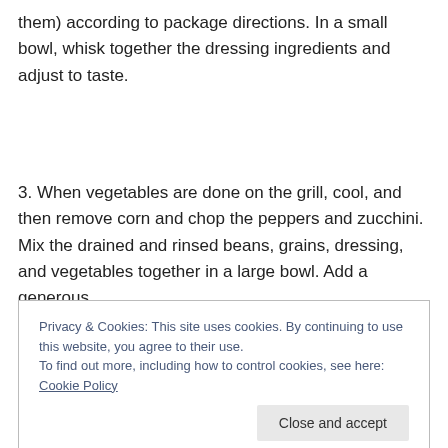them) according to package directions. In a small bowl, whisk together the dressing ingredients and adjust to taste.
3. When vegetables are done on the grill, cool, and then remove corn and chop the peppers and zucchini. Mix the drained and rinsed beans, grains, dressing, and vegetables together in a large bowl. Add a generous
Privacy & Cookies: This site uses cookies. By continuing to use this website, you agree to their use.
To find out more, including how to control cookies, see here: Cookie Policy
Close and accept